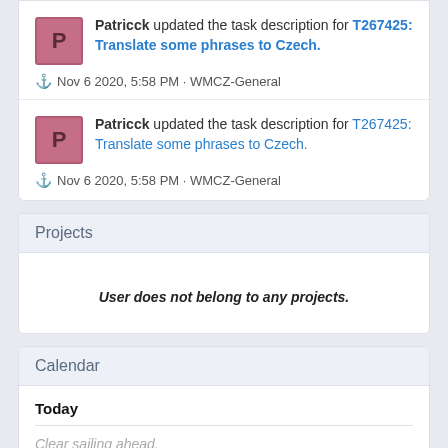Patricck updated the task description for T267425: Translate some phrases to Czech.
Nov 6 2020, 5:58 PM · WMCZ-General
Patricck updated the task description for T267425: Translate some phrases to Czech.
Nov 6 2020, 5:58 PM · WMCZ-General
Projects
User does not belong to any projects.
Calendar
Today
Clear sailing ahead.